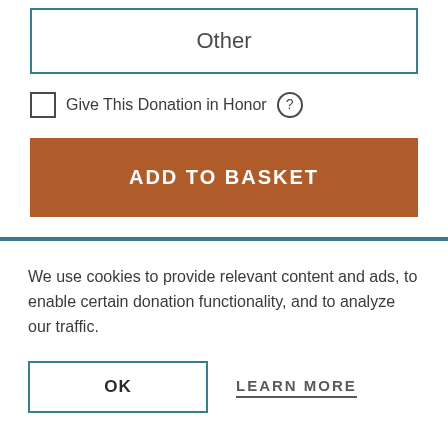Other
Give This Donation in Honor
ADD TO BASKET
We use cookies to provide relevant content and ads, to enable certain donation functionality, and to analyze our traffic.
OK
LEARN MORE